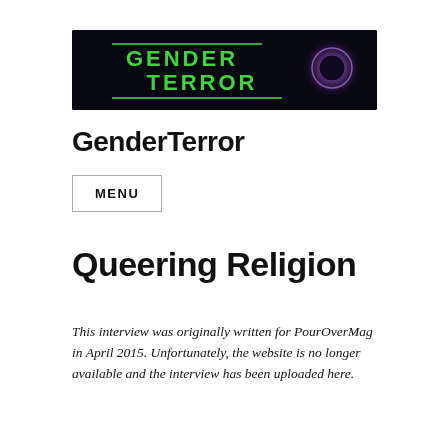[Figure (logo): GenderTerror banner logo: dark background with green grunge-style text reading GENDER TERROR and a purple glowing orb on the right]
GenderTerror
MENU
Queering Religion
This interview was originally written for PourOverMag in April 2015. Unfortunately, the website is no longer available and the interview has been uploaded here.